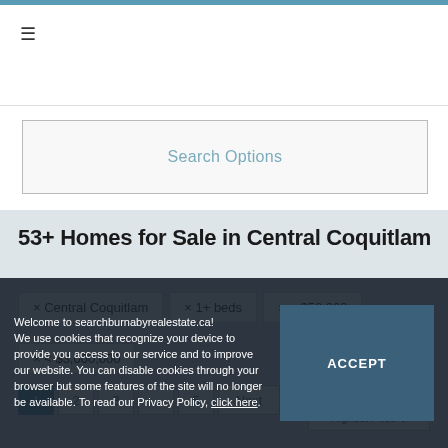≡
Search Options
53+ Homes for Sale in Central Coquitlam
× Central Coquitlam
× 1+ beds
× > $50,000
× < $3,000,000
Sort By:
1  2  3  ...  5  Next
Highest Price ∨
Welcome to searchburnabyrealestate.ca! We use cookies that recognize your device to provide you access to our service and to improve our website. You can disable cookies through your browser but some features of the site will no longer be available. To read our Privacy Policy, click here.
ACCEPT